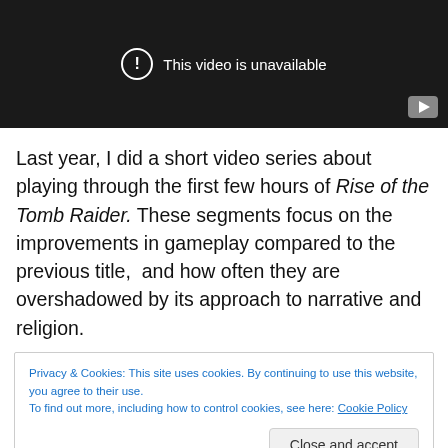[Figure (screenshot): Video player showing 'This video is unavailable' message with a YouTube logo icon in bottom-right corner, on a dark background.]
Last year, I did a short video series about playing through the first few hours of Rise of the Tomb Raider. These segments focus on the improvements in gameplay compared to the previous title,  and how often they are overshadowed by its approach to narrative and religion.
Privacy & Cookies: This site uses cookies. By continuing to use this website, you agree to their use.
To find out more, including how to control cookies, see here: Cookie Policy
Close and accept